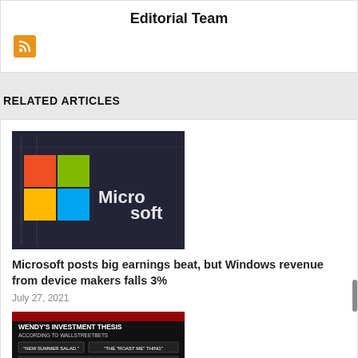Editorial Team
[Figure (logo): RSS feed icon: orange square with white RSS symbol]
RELATED ARTICLES
[Figure (photo): Microsoft logo sign on a building exterior — four-color Windows logo squares and 'Microsoft' text in white on dark glass building]
Microsoft posts big earnings beat, but Windows revenue from device makers falls 3%
July 27, 2021
[Figure (infographic): Wendy's Investment Thesis According to WallStreetBets infographic — showing text boxes: 'NEW SUMMER SALAD.', 'THE "ROAST ME" THING', 'SOCIAL MEDIA "BEEF" OR "METAPRAGMATIC ROASTING"', 'WENDY'S CHICKEN TENDIES']